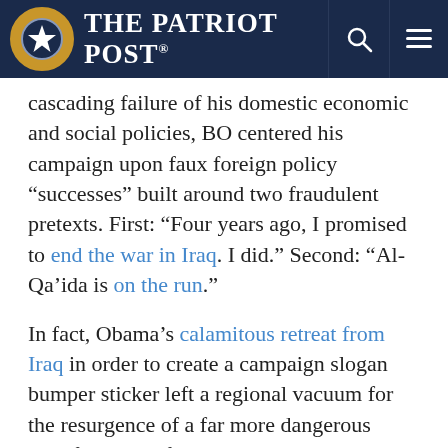The Patriot Post
cascading failure of his domestic economic and social policies, BO centered his campaign upon faux foreign policy “successes” built around two fraudulent pretexts. First: “Four years ago, I promised to end the war in Iraq. I did.” Second: “Al-Qa’ida is on the run.”
In fact, Obama’s calamitous retreat from Iraq in order to create a campaign slogan bumper sticker left a regional vacuum for the resurgence of a far more dangerous manifestation of Islamic terrorism under the ISIL label, which, in conjunction with a thriving al-Qa’ida terrorist network, poses a dire asymmetric terrorist threat to the West.
In a strategic region where former President George W. Bush’s doctrine of preemption resulted in costly